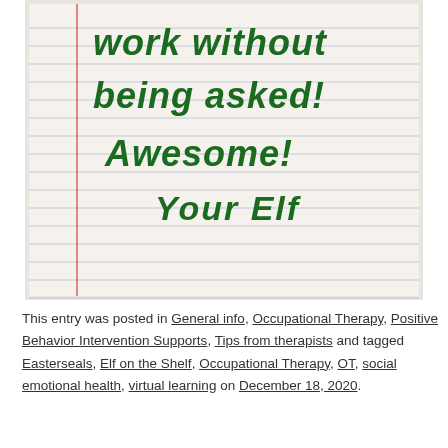[Figure (photo): A photo of lined notebook paper with handwritten green marker text reading: 'work without being asked! Awesome! Your Elf']
This entry was posted in General info, Occupational Therapy, Positive Behavior Intervention Supports, Tips from therapists and tagged Easterseals, Elf on the Shelf, Occupational Therapy, OT, social emotional health, virtual learning on December 18, 2020.